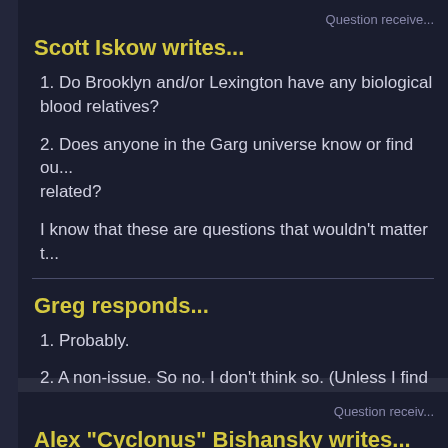Question receive...
Scott Iskow writes...
1. Do Brooklyn and/or Lexington have any biological blood relatives?
2. Does anyone in the Garg universe know or find ou... related?
I know that these are questions that wouldn't matter t...
Greg responds...
1. Probably.
2. A non-issue. So no. I don't think so. (Unless I find s... overwhelms what I think is the coolness of no one kn...
Question receiv...
Alex "Cyclonus" Bishansky writes...